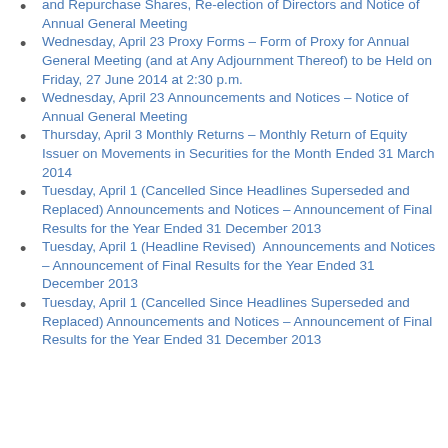and Repurchase Shares, Re-election of Directors and Notice of Annual General Meeting
Wednesday, April 23 Proxy Forms – Form of Proxy for Annual General Meeting (and at Any Adjournment Thereof) to be Held on Friday, 27 June 2014 at 2:30 p.m.
Wednesday, April 23 Announcements and Notices – Notice of Annual General Meeting
Thursday, April 3 Monthly Returns – Monthly Return of Equity Issuer on Movements in Securities for the Month Ended 31 March 2014
Tuesday, April 1 (Cancelled Since Headlines Superseded and Replaced) Announcements and Notices – Announcement of Final Results for the Year Ended 31 December 2013
Tuesday, April 1 (Headline Revised)  Announcements and Notices – Announcement of Final Results for the Year Ended 31 December 2013
Tuesday, April 1 (Cancelled Since Headlines Superseded and Replaced) Announcements and Notices – Announcement of Final Results for the Year Ended 31 December 2013